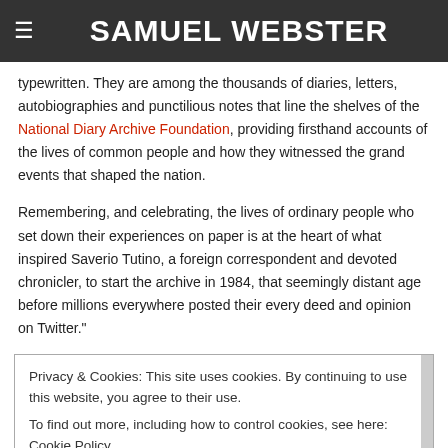SAMUEL WEBSTER
typewritten. They are among the thousands of diaries, letters, autobiographies and punctilious notes that line the shelves of the National Diary Archive Foundation, providing firsthand accounts of the lives of common people and how they witnessed the grand events that shaped the nation.
Remembering, and celebrating, the lives of ordinary people who set down their experiences on paper is at the heart of what inspired Saverio Tutino, a foreign correspondent and devoted chronicler, to start the archive in 1984, that seemingly distant age before millions everywhere posted their every deed and opinion on Twitter."
Privacy & Cookies: This site uses cookies. By continuing to use this website, you agree to their use.
To find out more, including how to control cookies, see here: Cookie Policy
Close and accept
[/et pb divider][/et pb column][/et pb row][et pb row